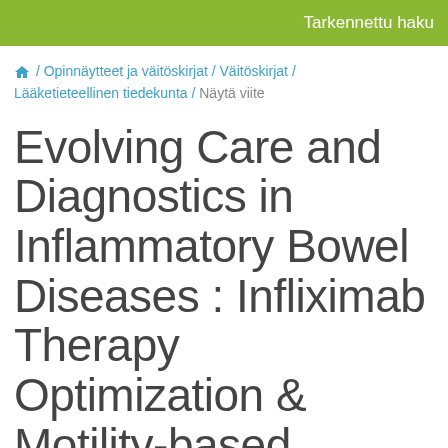Tarkennettu haku
🏠 / Opinnäytteet ja väitöskirjat / Väitöskirjat / Lääketieteellinen tiedekunta / Näytä viite
Evolving Care and Diagnostics in Inflammatory Bowel Diseases : Infliximab Therapy Optimization & Motility-based Crohn's Disease